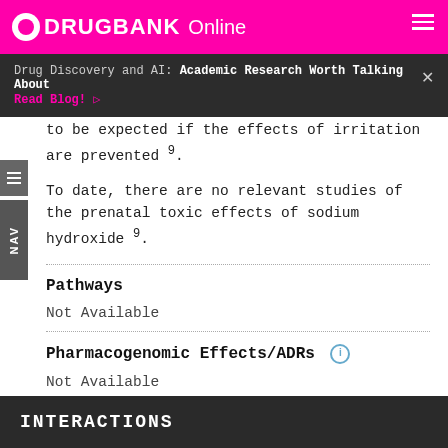DRUGBANK Online
Drug Discovery and AI: Academic Research Worth Talking About Read Blog!
to be expected if the effects of irritation are prevented 9.
To date, there are no relevant studies of the prenatal toxic effects of sodium hydroxide 9.
Pathways
Not Available
Pharmacogenomic Effects/ADRs
Not Available
INTERACTIONS